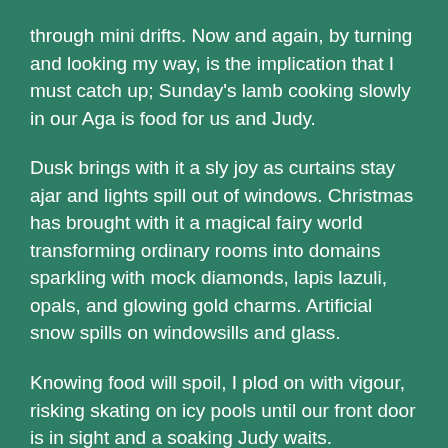through mini drifts. Now and again, by turning and looking my way, is the implication that I must catch up; Sunday's lamb cooking slowly in our Aga is food for us and Judy.
Dusk brings with it a sly joy as curtains stay ajar and lights spill out of windows. Christmas has brought with it a magical fairy world transforming ordinary rooms into domains sparkling with mock diamonds, lapis lazuli, opals, and glowing gold charms. Artificial snow spills on windowsills and glass.
Knowing food will spoil, I plod on with vigour, risking skating on icy pools until our front door is in sight and a soaking Judy waits.
Helen
A WINTER WALK. NO ‘E’